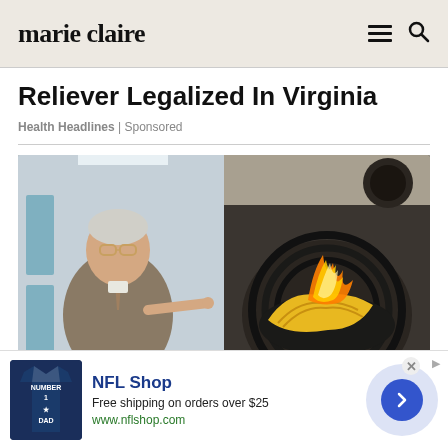marie claire
Reliever Legalized In Virginia
Health Headlines | Sponsored
[Figure (photo): Split image: left side shows an older man with glasses in a suit pointing toward right half; right side shows bananas on fire on a stove burner]
[Figure (infographic): NFL Shop advertisement banner: NFL jersey image on left, text 'NFL Shop - Free shipping on orders over $25 - www.nflshop.com', arrow button on right]